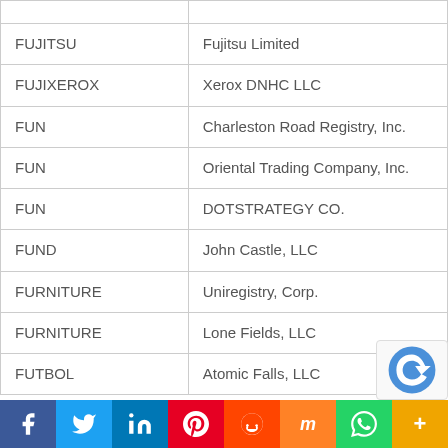| String | Organization |
| --- | --- |
| FUJITSU | Fujitsu Limited |
| FUJIXEROX | Xerox DNHC LLC |
| FUN | Charleston Road Registry, Inc. |
| FUN | Oriental Trading Company, Inc. |
| FUN | DOTSTRATEGY CO. |
| FUND | John Castle, LLC |
| FURNITURE | Uniregistry, Corp. |
| FURNITURE | Lone Fields, LLC |
| FUTBOL | Atomic Falls, LLC |